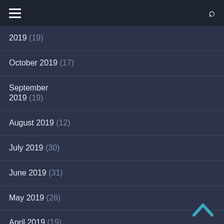2019 (19)
October 2019 (17)
September 2019 (19)
August 2019 (12)
July 2019 (30)
June 2019 (31)
May 2019 (26)
April 2019 (19)
March 2019 (24)
February 2019 (29)
January 2019 (25)
December 2018 (20)